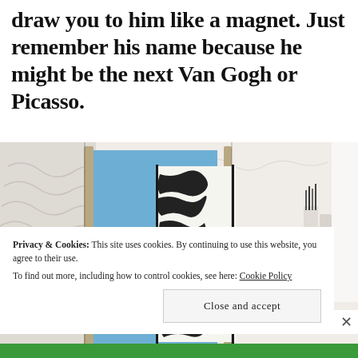draw you to him like a magnet. Just remember his name because he might be the next Van Gogh or Picasso.
[Figure (photo): An art studio scene with a large canvas on an easel showing a blue panel on the left and a black-and-white zebra-stripe pattern on the right, surrounded by art supplies and white walls.]
Privacy & Cookies: This site uses cookies. By continuing to use this website, you agree to their use.
To find out more, including how to control cookies, see here: Cookie Policy
Close and accept